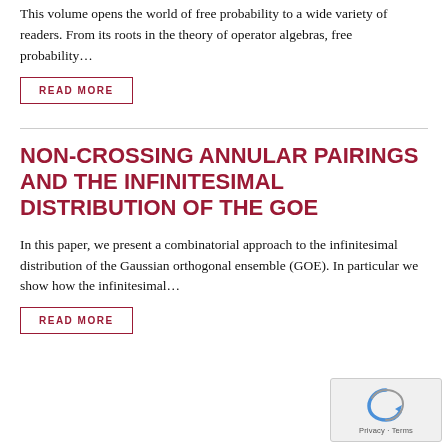This volume opens the world of free probability to a wide variety of readers. From its roots in the theory of operator algebras, free probability...
READ MORE
NON-CROSSING ANNULAR PAIRINGS AND THE INFINITESIMAL DISTRIBUTION OF THE GOE
In this paper, we present a combinatorial approach to the infinitesimal distribution of the Gaussian orthogonal ensemble (GOE). In particular we show how the infinitesimal...
READ MORE